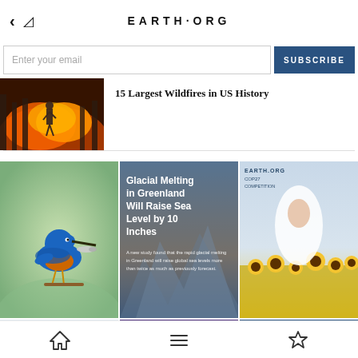EARTH·ORG
Enter your email  SUBSCRIBE
[Figure (photo): Wildfire scene with firefighter silhouette against orange flames]
15 Largest Wildfires in US History
[Figure (photo): Kingfisher bird holding a fish]
[Figure (photo): Glacial landscape with overlay text: Glacial Melting in Greenland Will Raise Sea Level by 10 Inches. A new study found that the rapid glacial melting in Greenland will raise global sea levels more than twice as much as previously forecast.]
[Figure (photo): EARTH.ORG COP27 competition - woman in sunflower field]
[Figure (photo): Bottom row partial image - purple card with EARTH.ORG]
[Figure (photo): Bottom row partial image - EARTH.ORG card]
Home | Menu | Bookmark navigation icons